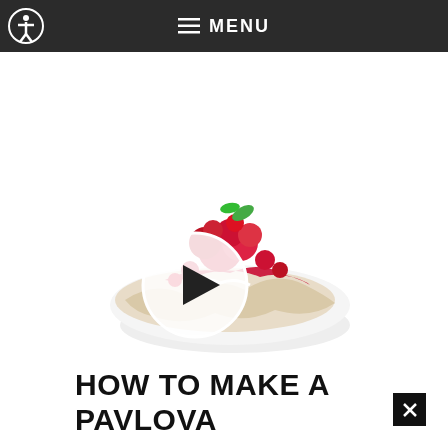MENU
[Figure (photo): Pavlova dessert topped with berries and mint, with a play button overlay indicating a video thumbnail]
HOW TO MAKE A PAVLOVA
Pavlova is another classic Australian dessert — ours is a crisp meringue shell with a marshmallowy center, topped with creamy, berry-swirled wh
bei